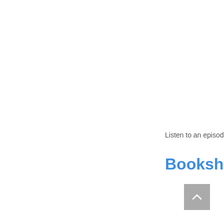Listen to an episode
Bookshelf